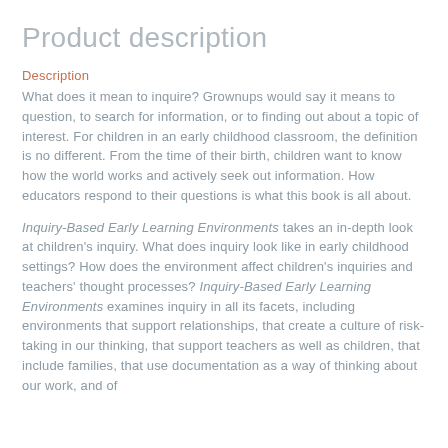Product description
Description
What does it mean to inquire? Grownups would say it means to question, to search for information, or to finding out about a topic of interest. For children in an early childhood classroom, the definition is no different. From the time of their birth, children want to know how the world works and actively seek out information. How educators respond to their questions is what this book is all about.
Inquiry-Based Early Learning Environments takes an in-depth look at children's inquiry. What does inquiry look like in early childhood settings? How does the environment affect children's inquiries and teachers' thought processes? Inquiry-Based Early Learning Environments examines inquiry in all its facets, including environments that support relationships, that create a culture of risk-taking in our thinking, that support teachers as well as children, that include families, that use documentation as a way of thinking about our work, and of